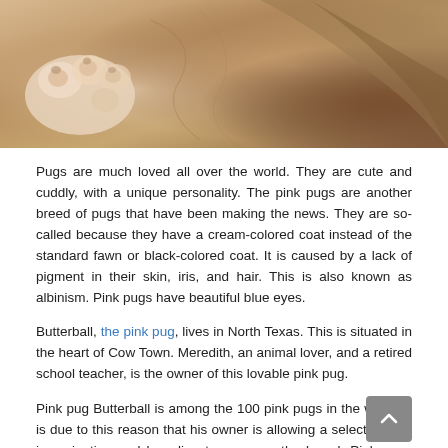[Figure (photo): Close-up photo of a pug's paw and skin area, showing cream/pink coloring with tan background]
Pugs are much loved all over the world. They are cute and cuddly, with a unique personality. The pink pugs are another breed of pugs that have been making the news. They are so-called because they have a cream-colored coat instead of the standard fawn or black-colored coat. It is caused by a lack of pigment in their skin, iris, and hair. This is also known as albinism. Pink pugs have beautiful blue eyes.
Butterball, the pink pug, lives in North Texas. This is situated in the heart of Cow Town. Meredith, an animal lover, and a retired school teacher, is the owner of this lovable pink pug.
Pink pug Butterball is among the 100 pink pugs in the world. It is due to this reason that his owner is allowing a select few for insemination and breeding to preserve the breed. Pink pugs are valued at $10,000, and the value continues to grow.
Not only is he beautiful, but he is a high-quality pug. Due to this sturdy build, he can outrank other bulldogs and become a star in dog shows. He is a loved pet for the family and has a great personality to suit his looks.